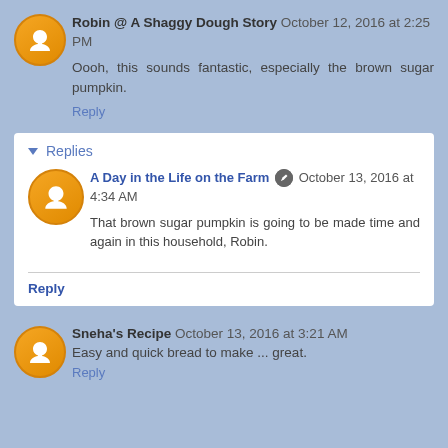Robin @ A Shaggy Dough Story October 12, 2016 at 2:25 PM
Oooh, this sounds fantastic, especially the brown sugar pumpkin.
Reply
Replies
A Day in the Life on the Farm October 13, 2016 at 4:34 AM
That brown sugar pumpkin is going to be made time and again in this household, Robin.
Reply
Sneha's Recipe October 13, 2016 at 3:21 AM
Easy and quick bread to make ... great.
Reply